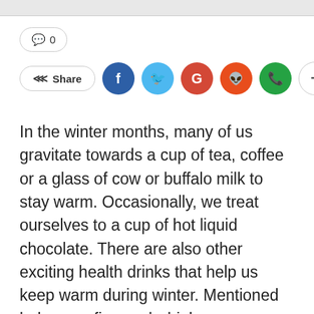[Figure (screenshot): Top gray bar, partial screenshot of website header]
💬 0
[Figure (infographic): Share button row with social media icons: Facebook (blue), Twitter (cyan), Google+ (red), Reddit (orange-red), WhatsApp (green), and a plus button (gray outline)]
In the winter months, many of us gravitate towards a cup of tea, coffee or a glass of cow or buffalo milk to stay warm. Occasionally, we treat ourselves to a cup of hot liquid chocolate. There are also other exciting health drinks that help us keep warm during winter. Mentioned below are five such drinks.
1. Almond Milk